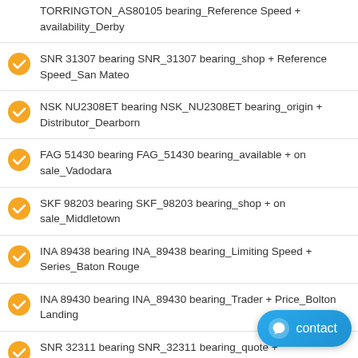TORRINGTON_AS80105 bearing_Reference Speed + availability_Derby
SNR 31307 bearing SNR_31307 bearing_shop + Reference Speed_San Mateo
NSK NU2308ET bearing NSK_NU2308ET bearing_origin + Distributor_Dearborn
FAG 51430 bearing FAG_51430 bearing_available + on sale_Vadodara
SKF 98203 bearing SKF_98203 bearing_shop + on sale_Middletown
INA 89438 bearing INA_89438 bearing_Limiting Speed + Series_Baton Rouge
INA 89430 bearing INA_89430 bearing_Trader + Price_Bolton Landing
SNR 32311 bearing SNR_32311 bearing_quote +